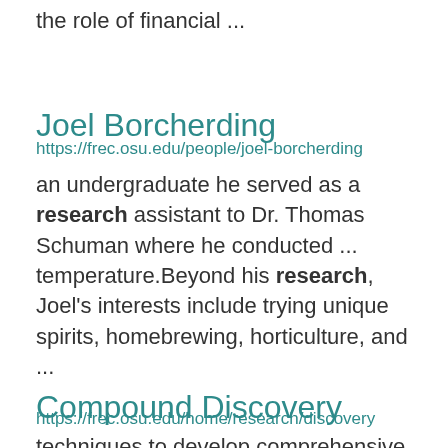the role of financial ...
Joel Borcherding
https://frec.osu.edu/people/joel-borcherding
an undergraduate he served as a research assistant to Dr. Thomas Schuman where he conducted ... temperature.Beyond his research, Joel's interests include trying unique spirits, homebrewing, horticulture, and ...
Compound Discovery
https://frec.osu.edu/home/research/discovery
techniques to develop comprehensive